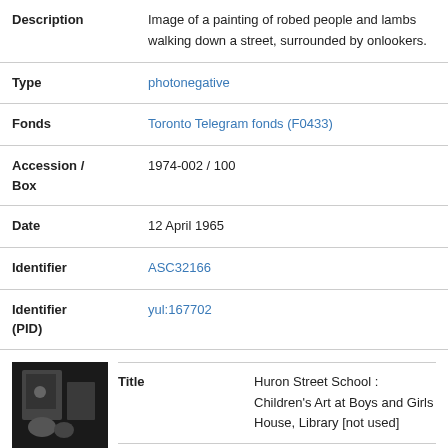| Field | Value |
| --- | --- |
| Description | Image of a painting of robed people and lambs walking down a street, surrounded by onlookers. |
| Type | photonegative |
| Fonds | Toronto Telegram fonds (F0433) |
| Accession / Box | 1974-002 / 100 |
| Date | 12 April 1965 |
| Identifier | ASC32166 |
| Identifier (PID) | yul:167702 |
| Title | Huron Street School : Children's Art at Boys and Girls House, Library [not used] |
| Description | Image of a boy kneeling on ground and |